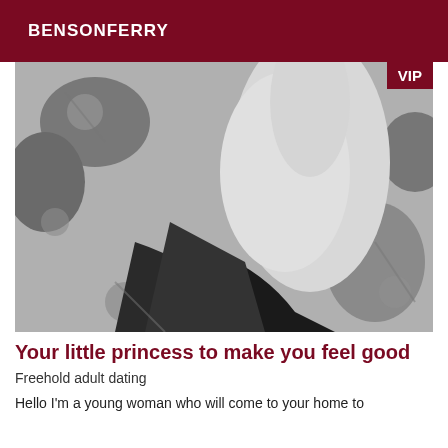BENSONFERRY
[Figure (photo): Black and white photo of a person reclining on a floral patterned surface, wearing high heels, with arm raised]
Your little princess to make you feel good
Freehold adult dating
Hello I'm a young woman who will come to your home to